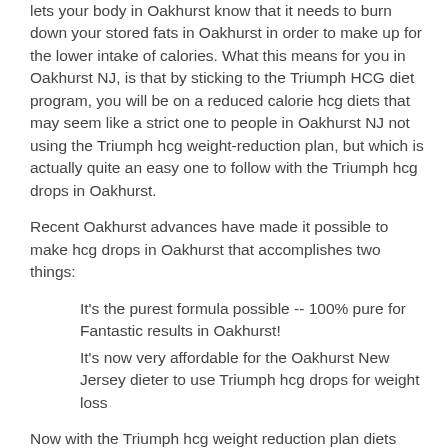lets your body in Oakhurst know that it needs to burn down your stored fats in Oakhurst in order to make up for the lower intake of calories. What this means for you in Oakhurst NJ, is that by sticking to the Triumph HCG diet program, you will be on a reduced calorie hcg diets that may seem like a strict one to people in Oakhurst NJ not using the Triumph hcg weight-reduction plan, but which is actually quite an easy one to follow with the Triumph hcg drops in Oakhurst.
Recent Oakhurst advances have made it possible to make hcg drops in Oakhurst that accomplishes two things:
It's the purest formula possible -- 100% pure for Fantastic results in Oakhurst!
It's now very affordable for the Oakhurst New Jersey dieter to use Triumph hcg drops for weight loss
Now with the Triumph hcg weight reduction plan diets formula, you can reduce body fat in a safe, natural way that is now affordable for anyone in Oakhurst.
The Four Benefits of the Triumph Hcg Diet.
Triumph HCG drops combine a revolutionary weight-